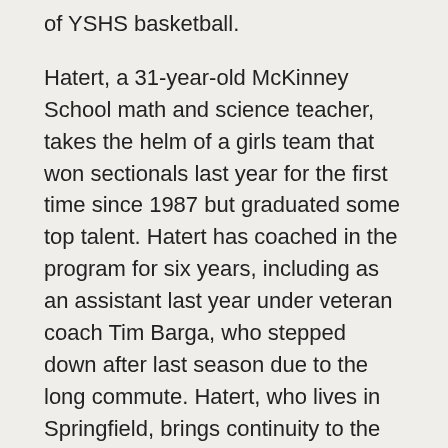of YSHS basketball.
Hatert, a 31-year-old McKinney School math and science teacher, takes the helm of a girls team that won sectionals last year for the first time since 1987 but graduated some top talent. Hatert has coached in the program for six years, including as an assistant last year under veteran coach Tim Barga, who stepped down after last season due to the long commute. Hatert, who lives in Springfield, brings continuity to the program and will run the same offenses and defense as last year.
“I’ve been around the program for years and coached these seniors when they were in seventh and eighth grade,” Hatert said. “I didn’t want them to come into a new system, so I did it for the health of the program. I’m going to pick up where [Barga] left off.”